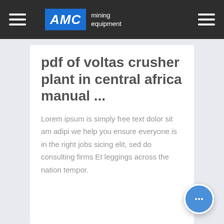AMC mining equipment
pdf of voltas crusher plant in central africa manual ...
Lorem ipsum is simply free text dolor sit am adipi we help you ensure everyone is in the right jobs sicing elit, sed do consulting firms Et leggings across the nation tempor.